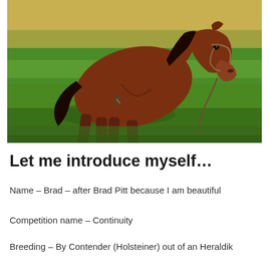[Figure (photo): A brown bay horse wearing a bridle and lead rope, grazing with its head down on bright green grass. The background shows tall dry grass/reeds. The horse is viewed from the side, slightly to the right.]
Let me introduce myself…
Name – Brad – after Brad Pitt because I am beautiful
Competition name – Continuity
Breeding – By Contender (Holsteiner) out of an Heraldik